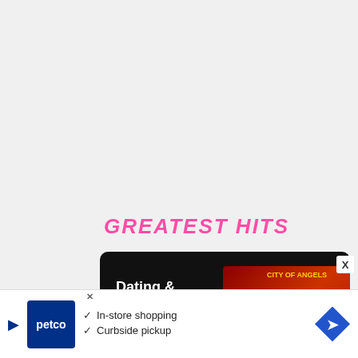GREATEST HITS
Dating & Relationships in Hollywood (Hollyweird): So
Read More
Look Both Ways Before Taking Selfies In Bathrooms
Read More
Why Do People Like Memes? |
[Figure (screenshot): Petco advertisement banner with in-store shopping and curbside pickup text]